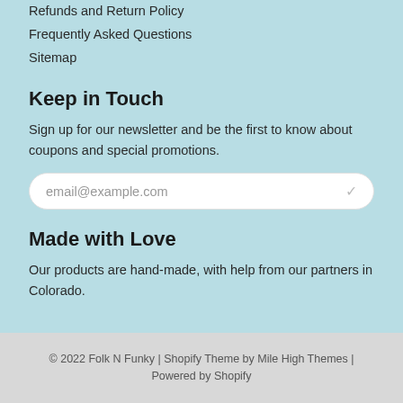Refunds and Return Policy
Frequently Asked Questions
Sitemap
Keep in Touch
Sign up for our newsletter and be the first to know about coupons and special promotions.
[Figure (other): Email input field with placeholder text email@example.com and a checkmark icon]
Made with Love
Our products are hand-made, with help from our partners in Colorado.
© 2022 Folk N Funky | Shopify Theme by Mile High Themes | Powered by Shopify